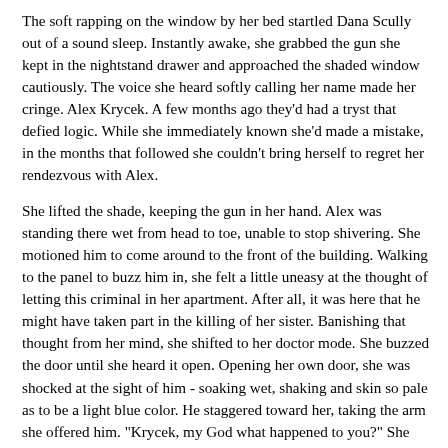The soft rapping on the window by her bed startled Dana Scully out of a sound sleep. Instantly awake, she grabbed the gun she kept in the nightstand drawer and approached the shaded window cautiously. The voice she heard softly calling her name made her cringe. Alex Krycek. A few months ago they'd had a tryst that defied logic. While she immediately known she'd made a mistake, in the months that followed she couldn't bring herself to regret her rendezvous with Alex.
She lifted the shade, keeping the gun in her hand. Alex was standing there wet from head to toe, unable to stop shivering. She motioned him to come around to the front of the building. Walking to the panel to buzz him in, she felt a little uneasy at the thought of letting this criminal in her apartment. After all, it was here that he might have taken part in the killing of her sister. Banishing that thought from her mind, she shifted to her doctor mode. She buzzed the door until she heard it open. Opening her own door, she was shocked at the sight of him - soaking wet, shaking and skin so pale as to be a light blue color. He staggered toward her, taking the arm she offered him. "Krycek, my God what happened to you?" She led him to her couch, grabbing an afghan from a chair and wrapping it around him. "You may be suffering from hypothermia. You have to get out of those clothes."